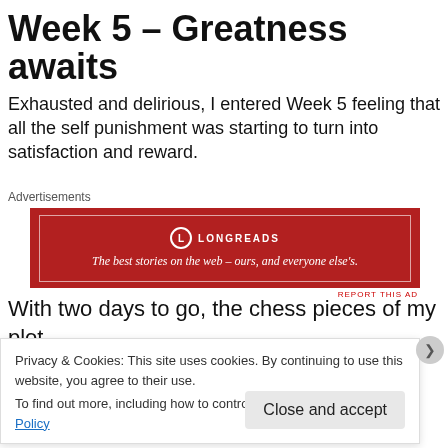Week 5 – Greatness awaits
Exhausted and delirious, I entered Week 5 feeling that all the self punishment was starting to turn into satisfaction and reward.
[Figure (other): Longreads advertisement banner with red background. Logo reads LONGREADS. Tagline: The best stories on the web – ours, and everyone else's.]
With two days to go, the chess pieces of my plot
Privacy & Cookies: This site uses cookies. By continuing to use this website, you agree to their use.
To find out more, including how to control cookies, see here: Cookie Policy
Close and accept